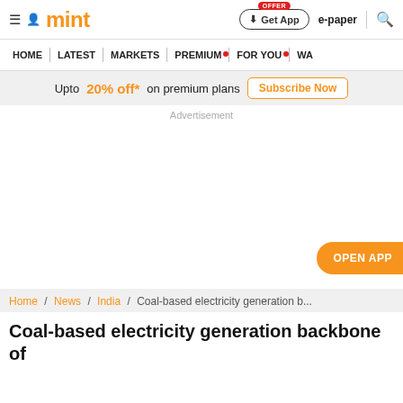mint
HOME | LATEST | MARKETS | PREMIUM | FOR YOU | WA
Upto 20% off* on premium plans  Subscribe Now
Advertisement
OPEN APP
Home / News / India / Coal-based electricity generation b...
Coal-based electricity generation backbone of